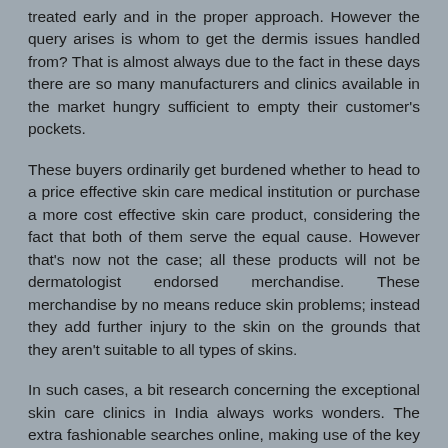treated early and in the proper approach. However the query arises is whom to get the dermis issues handled from? That is almost always due to the fact in these days there are so many manufacturers and clinics available in the market hungry sufficient to empty their customer's pockets.
These buyers ordinarily get burdened whether to head to a price effective skin care medical institution or purchase a more cost effective skin care product, considering the fact that both of them serve the equal cause. However that's now not the case; all these products will not be dermatologist endorsed merchandise. These merchandise by no means reduce skin problems; instead they add further injury to the skin on the grounds that they aren't suitable to all types of skins.
In such cases, a bit research concerning the exceptional skin care clinics in India always works wonders. The extra fashionable searches online, making use of the key phrase because the nice dermis care clinic in India would fetch VLCC Mumbai and Dr. Adityan skin hospital Madurai of their result tab. These branded skin care clinics have made a